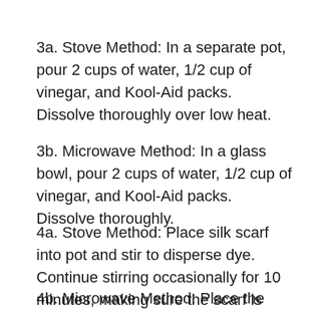3a. Stove Method: In a separate pot, pour 2 cups of water, 1/2 cup of vinegar, and Kool-Aid packs. Dissolve thoroughly over low heat.
3b. Microwave Method: In a glass bowl, pour 2 cups of water, 1/2 cup of vinegar, and Kool-Aid packs. Dissolve thoroughly.
4a. Stove Method: Place silk scarf into pot and stir to disperse dye. Continue stirring occasionally for 10 minutes, making sure the scarf is absorbing the color evenly.
4b. Microwave Method: Place the scarf in the